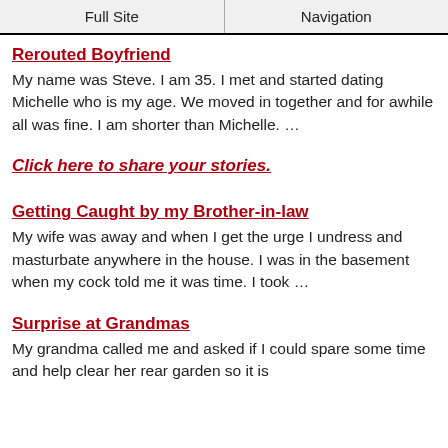Full Site | Navigation
Rerouted Boyfriend
My name was Steve. I am 35. I met and started dating Michelle who is my age. We moved in together and for awhile all was fine. I am shorter than Michelle. …
Click here to share your stories.
Getting Caught by my Brother-in-law
My wife was away and when I get the urge I undress and masturbate anywhere in the house. I was in the basement when my cock told me it was time. I took …
Surprise at Grandmas
My grandma called me and asked if I could spare some time and help clear her rear garden so it is